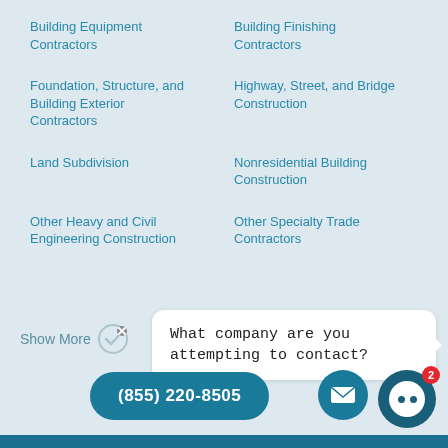Building Equipment Contractors
Building Finishing Contractors
Foundation, Structure, and Building Exterior Contractors
Highway, Street, and Bridge Construction
Land Subdivision
Nonresidential Building Construction
Other Heavy and Civil Engineering Construction
Other Specialty Trade Contractors
Show More
What company are you attempting to contact?
(855) 220-8505